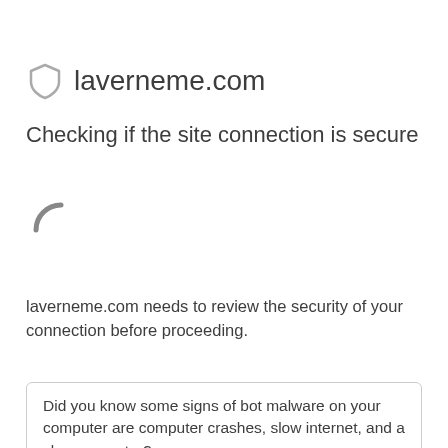laverneme.com
Checking if the site connection is secure
[Figure (illustration): Loading spinner arc icon, gray color]
laverneme.com needs to review the security of your connection before proceeding.
Did you know some signs of bot malware on your computer are computer crashes, slow internet, and a slow computer?